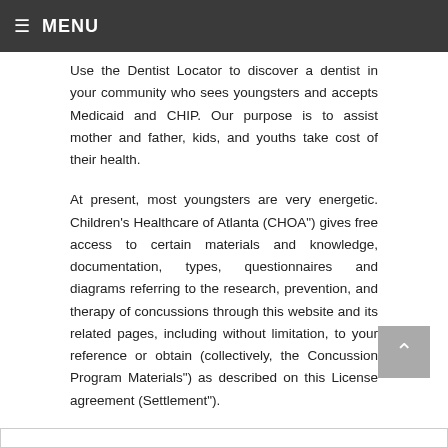≡ MENU
Use the Dentist Locator to discover a dentist in your community who sees youngsters and accepts Medicaid and CHIP. Our purpose is to assist mother and father, kids, and youths take cost of their health.
At present, most youngsters are very energetic. Children's Healthcare of Atlanta (CHOA") gives free access to certain materials and knowledge, documentation, types, questionnaires and diagrams referring to the research, prevention, and therapy of concussions through this website and its related pages, including without limitation, to your reference or obtain (collectively, the Concussion Program Materials") as described on this License agreement (Settlement").